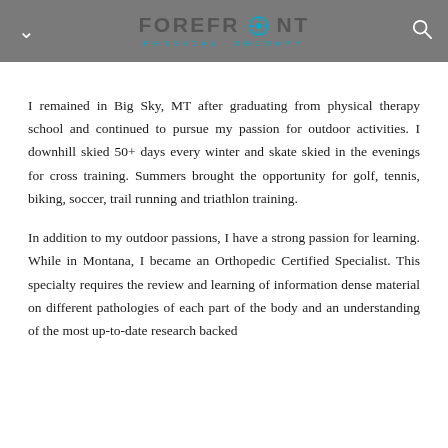FOREFRONT PHYSICAL THERAPY
I remained in Big Sky, MT after graduating from physical therapy school and continued to pursue my passion for outdoor activities. I downhill skied 50+ days every winter and skate skied in the evenings for cross training. Summers brought the opportunity for golf, tennis, biking, soccer, trail running and triathlon training.
In addition to my outdoor passions, I have a strong passion for learning. While in Montana, I became an Orthopedic Certified Specialist. This specialty requires the review and learning of information dense material on different pathologies of each part of the body and an understanding of the most up-to-date research backed